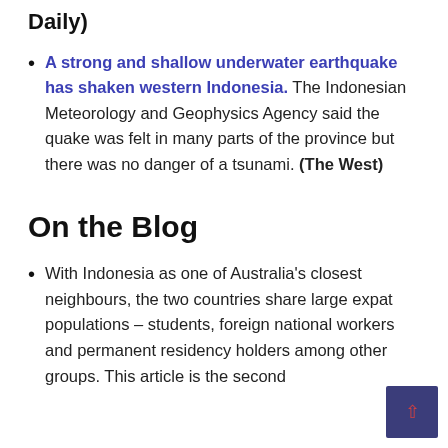Daily)
A strong and shallow underwater earthquake has shaken western Indonesia. The Indonesian Meteorology and Geophysics Agency said the quake was felt in many parts of the province but there was no danger of a tsunami. (The West)
On the Blog
With Indonesia as one of Australia's closest neighbours, the two countries share large expat populations – students, foreign national workers and permanent residency holders among other groups. This article is the second